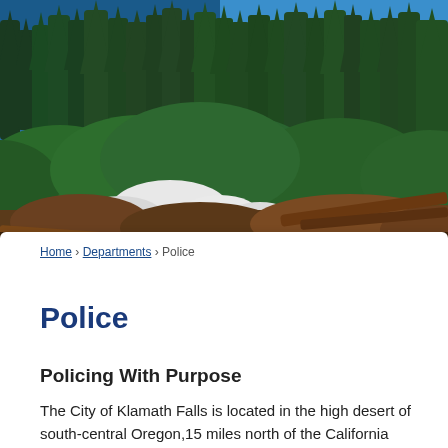[Figure (photo): Scenic outdoor photo of a forested mountain landscape with dark green pine trees, a bright blue sky or lake in the background, white snow on rocks and ground, and brown rocky terrain with fallen logs in the foreground.]
Home › Departments › Police
Police
Policing With Purpose
The City of Klamath Falls is located in the high desert of south-central Oregon,15 miles north of the California border. Our department serves a population of 21,000